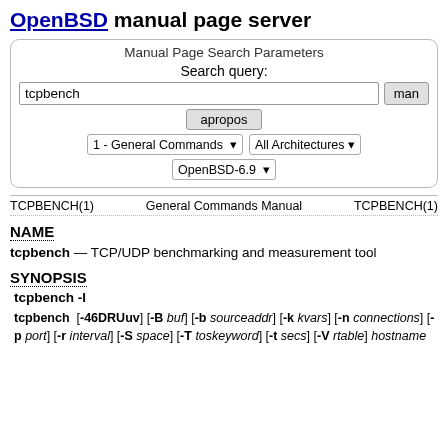OpenBSD manual page server
[Figure (screenshot): Manual Page Search Parameters form with search query field containing 'tcpbench', man button, apropos button, section dropdown '1 - General Commands', architecture dropdown 'All Architectures', and version dropdown 'OpenBSD-6.9']
TCPBENCH(1)   General Commands Manual   TCPBENCH(1)
NAME
tcpbench — TCP/UDP benchmarking and measurement tool
SYNOPSIS
tcpbench -l
tcpbench [-46DRUuv] [-B buf] [-b sourceaddr] [-k kvars] [-n connections] [-p port] [-r interval] [-S space] [-T toskeyword] [-t secs] [-V rtable] hostname